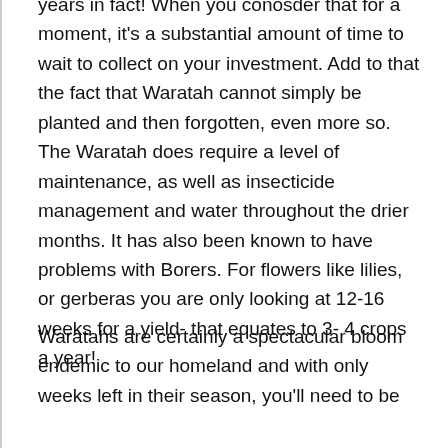years in fact! When you conosder that for a moment, it's a substantial amount of time to wait to collect on your investment. Add to that the fact that Waratah cannot simply be planted and then forgotten, even more so. The Waratah does require a level of maintenance, as well as insecticide management and water throughout the drier months. It has also been known to have problems with Borers. For flowers like lilies, or gerberas you are only looking at 12-16 weeks for a yield- that equates to 3- 4 crops a year!
Waratahs are certainly a spectacular bloom endemic to our homeland and with only weeks left in their season, you'll need to be